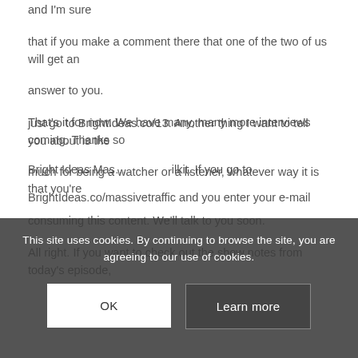and I'm sure
that if you make a comment there that one of the two of us will get an
answer to you.
That's it for now. We have many, many more interviews coming. Thanks so
much for being a watcher or a listener, whatever way it is that you're
consuming this content. We'll talk to you soon.
All right. If you want to check out the show notes from today's episode,
just go to BrightIdeas.co/13. Another thing I want to tell you about is the
Bright Ideas Mas... ilkit. If you go to
BrightIdeas.co/massivetraffic and you enter your e-mail
This site uses cookies. By continuing to browse the site, you are agreeing to our use of cookies.